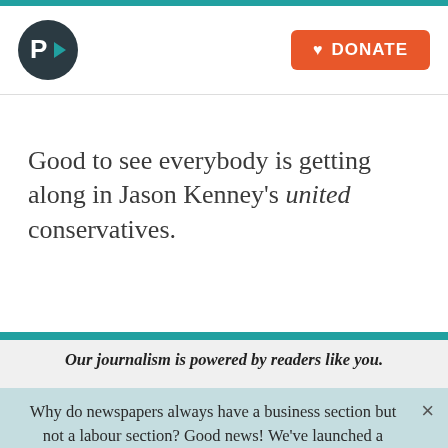[Figure (logo): P with right-pointing arrow logo in dark circle, teal arrow]
DONATE
Good to see everybody is getting along in Jason Kenney's united conservatives.
Our journalism is powered by readers like you.
Why do newspapers always have a business section but not a labour section? Good news! We've launched a newsletter covering labour issues in Canada.
Email Address*
SIGN UP